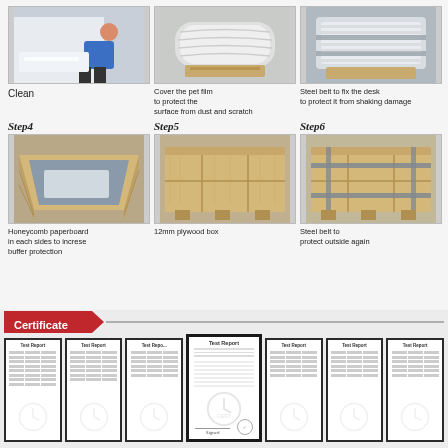[Figure (photo): Person cleaning a white surface panel]
Clean
[Figure (photo): Furniture piece wrapped in pet film for surface protection]
Cover the pet film to protect the surface from dust and scratch
[Figure (photo): Steel belt applied around furniture piece to fix the desk]
Steel belt to fix the desk to protect it from shaking damage
Step4
[Figure (photo): Wooden crate with honeycomb paperboard protection on sides]
Honeycomb paperboard in each sides to increse buffer protection
Step5
[Figure (photo): 12mm plywood box packaging]
12mm plywood box
Step6
[Figure (photo): Steel belt applied around plywood box for outside protection]
Steel belt to protect outside again
Certificate
[Figure (photo): Seven framed test report certificates displayed in a row, center one prominent]